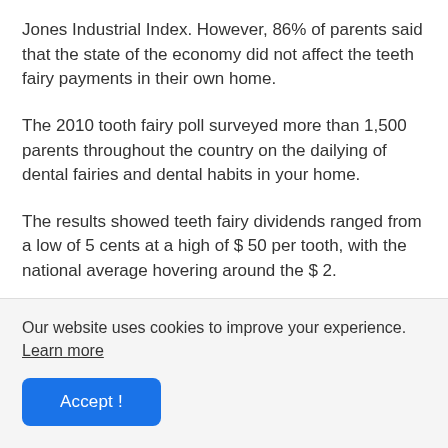Jones Industrial Index. However, 86% of parents said that the state of the economy did not affect the teeth fairy payments in their own home.
The 2010 tooth fairy poll surveyed more than 1,500 parents throughout the country on the dailying of dental fairies and dental habits in your home.
The results showed teeth fairy dividends ranged from a low of 5 cents at a high of $ 50 per tooth, with the national average hovering around the $ 2.
The researchers say that the research also showed that
Our website uses cookies to improve your experience. Learn more